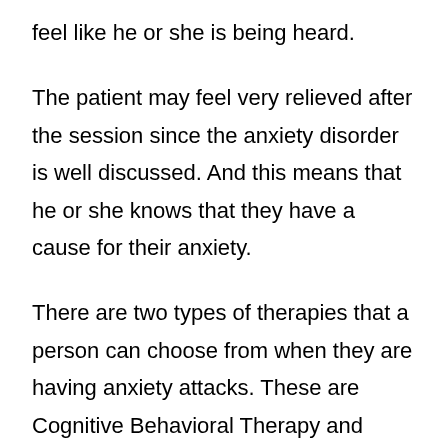feel like he or she is being heard.
The patient may feel very relieved after the session since the anxiety disorder is well discussed. And this means that he or she knows that they have a cause for their anxiety.
There are two types of therapies that a person can choose from when they are having anxiety attacks. These are Cognitive Behavioral Therapy and Psychodynamic Therapy.
Cognitive Behavioral Therapy tries to control a